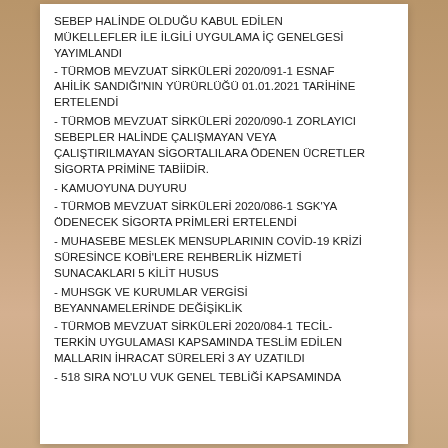SEBEP HALİNDE OLDUĞU KABUL EDİLEN MÜKELLEFLER İLE İLGİLİ UYGULAMA İÇ GENELGESİ YAYIMLANDI
- TÜRMOB MEVZUAT SİRKÜLERİ 2020/091-1 ESNAF AHİLİK SANDIĞI'NIN YÜRÜRLÜĞÜ 01.01.2021 TARİHİNE ERTELENDİ
- TÜRMOB MEVZUAT SİRKÜLERİ 2020/090-1 ZORLAYICI SEBEPLER HALİNDE ÇALIŞMAYAN VEYA ÇALIŞTIRILMAYAN SİGORTALILARA ÖDENEN ÜCRETLER SİGORTA PRİMİNE TABİİDİR.
- KAMUOYUNA DUYURU
- TÜRMOB MEVZUAT SİRKÜLERİ 2020/086-1 SGK'YA ÖDENECEK SİGORTA PRİMLERİ ERTELENDİ
- MUHASEBE MESLEK MENSUPLARININ COVİD-19 KRİZİ SÜRESİNCE KOBİ'LERE REHBERLİK HİZMETİ SUNACAKLARI 5 KİLİT HUSUS
- MUHSGK VE KURUMLAR VERGİSİ BEYANNAMELERİNDE DEĞİŞİKLİK
- TÜRMOB MEVZUAT SİRKÜLERİ 2020/084-1 TECİL-TERKİN UYGULAMASI KAPSAMINDA TESLİM EDİLEN MALLARIN İHRACAT SÜRELERİ 3 AY UZATILDI
- 518 SIRA NO'LU VUK GENEL TEBLİĞİ KAPSAMINDA